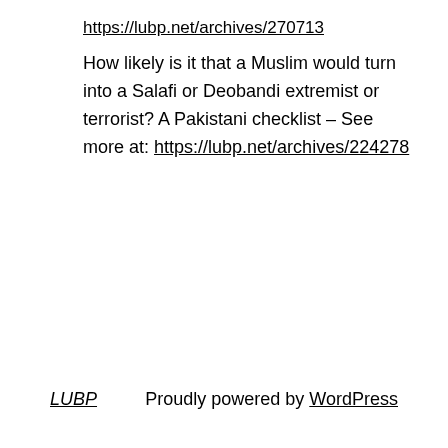https://lubp.net/archives/270713
How likely is it that a Muslim would turn into a Salafi or Deobandi extremist or terrorist? A Pakistani checklist – See more at: https://lubp.net/archives/224278
LUBP   Proudly powered by WordPress